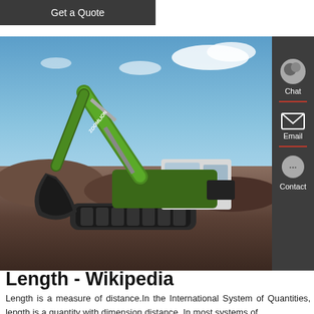Get a Quote
[Figure (photo): A large green Zoomlion excavator working at a dig site, with blue sky and rocky terrain in background. Sidebar with Chat, Email, Contact icons overlaid on right.]
Length - Wikipedia
Length is a measure of distance.In the International System of Quantities, length is a quantity with dimension distance. In most systems of